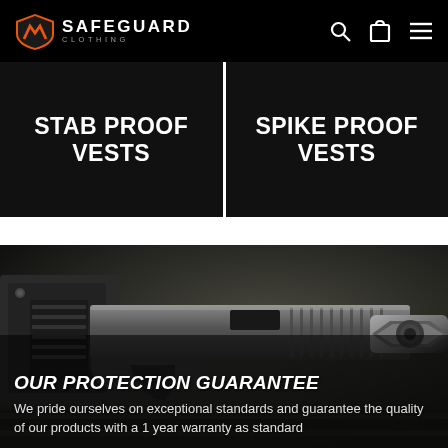SAFEGUARD CLOTHING
STAB PROOF VESTS
SPIKE PROOF VESTS
[Figure (photo): Close-up photograph of a firearm (handgun) with tactical gear/fabric in background, dark toned image]
OUR PROTECTION GUARANTEE
We pride ourselves on exceptional standards and guarantee the quality of our products with a 1 year warranty as standard